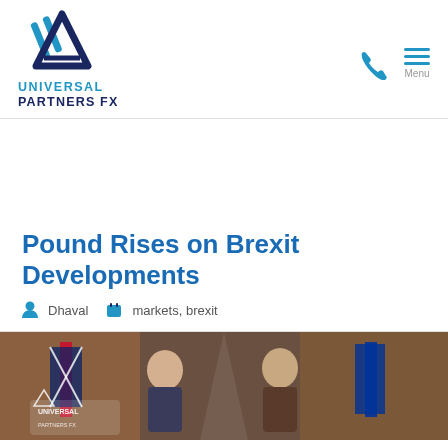[Figure (logo): Universal Partners FX logo — stylized chevron/arrow mark in blue above text 'UNIVERSAL PARTNERS FX']
Pound Rises on Brexit Developments
Dhaval   markets,  brexit
[Figure (photo): Photo of two people meeting with UK and EU flags visible in the background, with Universal Partners FX watermark overlay]